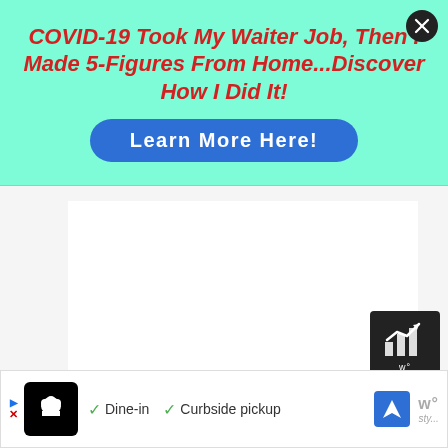COVID-19 Took My Waiter Job, Then I Made 5-Figures From Home...Discover How I Did It!
[Figure (other): Blue pill-shaped call-to-action button labeled 'Learn More Here!']
[Figure (other): Main content area - white box placeholder, with a small dark icon button at bottom right showing an upward arrow bar chart logo]
[Figure (other): Bottom advertisement bar showing a restaurant logo, checkmarks for Dine-in and Curbside pickup, a navigation arrow icon, and a branding watermark]